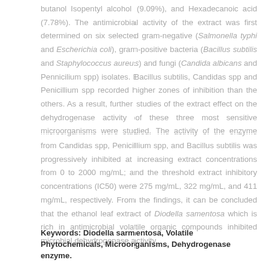butanol Isopentyl alcohol (9.09%), and Hexadecanoic acid (7.78%). The antimicrobial activity of the extract was first determined on six selected gram-negative (Salmonella typhi and Escherichia coli), gram-positive bacteria (Bacillus subtilis and Staphylococcus aureus) and fungi (Candida albicans and Pennicilium spp) isolates. Bacillus subtilis, Candidas spp and Penicillium spp recorded higher zones of inhibition than the others. As a result, further studies of the extract effect on the dehydrogenase activity of these three most sensitive microorganisms were studied. The activity of the enzyme from Candidas spp, Penicillium spp, and Bacillus subtilis was progressively inhibited at increasing extract concentrations from 0 to 2000 mg/mL; and the threshold extract inhibitory concentrations (IC50) were 275 mg/mL, 322 mg/mL, and 411 mg/mL, respectively. From the findings, it can be concluded that the ethanol leaf extract of Diodella samentosa which is rich in antimicrobial volatile organic compounds inhibited microbial dehydrogenase activity.
Keywords: Diodella sarmentosa, Volatile Phytochemicals, Microorganisms, Dehydrogenase enzyme.